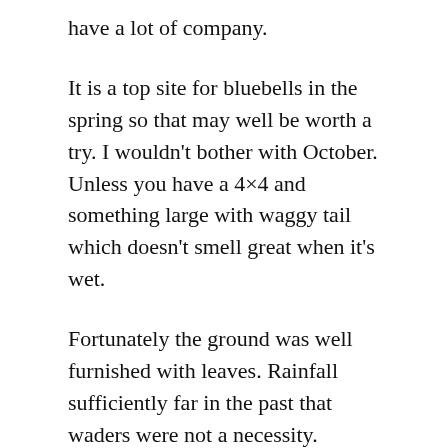have a lot of company.
It is a top site for bluebells in the spring so that may well be worth a try. I wouldn't bother with October. Unless you have a 4×4 and something large with waggy tail which doesn't smell great when it's wet.
Fortunately the ground was well furnished with leaves. Rainfall sufficiently far in the past that waders were not a necessity.
The Wildlife Trusts' booklet informs me that the wood is at least 900 years old. And so had a mention in the Domesday Book.